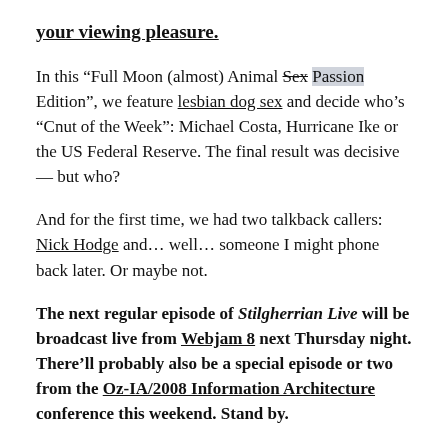your viewing pleasure.
In this “Full Moon (almost) Animal Sex Passion Edition”, we feature lesbian dog sex and decide who’s “Cnut of the Week”: Michael Costa, Hurricane Ike or the US Federal Reserve. The final result was decisive — but who?
And for the first time, we had two talkback callers: Nick Hodge and… well… someone I might phone back later. Or maybe not.
The next regular episode of Stilgherrian Live will be broadcast live from Webjam 8 next Thursday night. There’ll probably also be a special episode or two from the Oz-IA/2008 Information Architecture conference this weekend. Stand by.